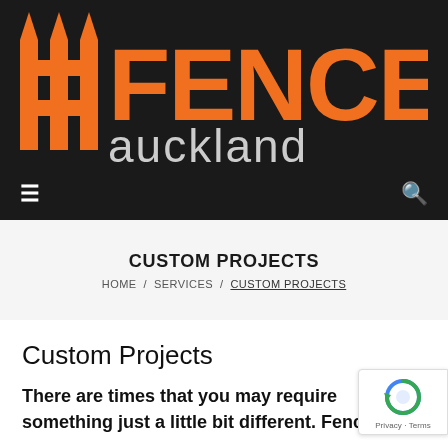[Figure (logo): Fences Auckland logo — orange fence silhouette icon on left with large orange bold text 'FENCES' above 'auckland' in white/grey, on a black background]
≡   🔍
CUSTOM PROJECTS
HOME / SERVICES / CUSTOM PROJECTS
Custom Projects
There are times that you may require something just a little bit different. Fences